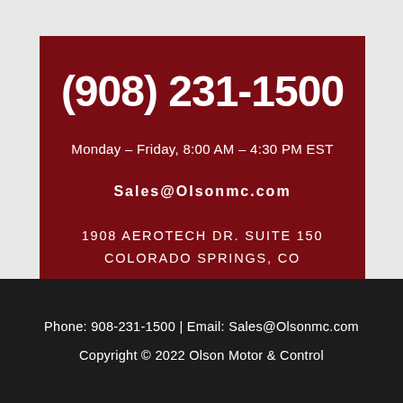(908) 231-1500
Monday – Friday, 8:00 AM – 4:30 PM EST
Sales@Olsonmc.com
1908 AEROTECH DR. SUITE 150
COLORADO SPRINGS, CO
Phone: 908-231-1500 | Email: Sales@Olsonmc.com
Copyright © 2022 Olson Motor & Control